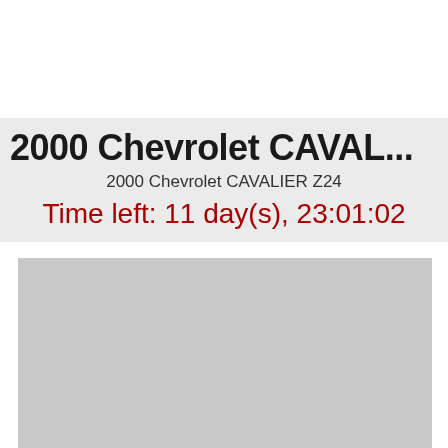2000 Chevrolet CAVAL...
2000 Chevrolet CAVALIER Z24
Time left: 11 day(s), 23:01:02
[Figure (photo): Light gray placeholder rectangle representing a vehicle photo]